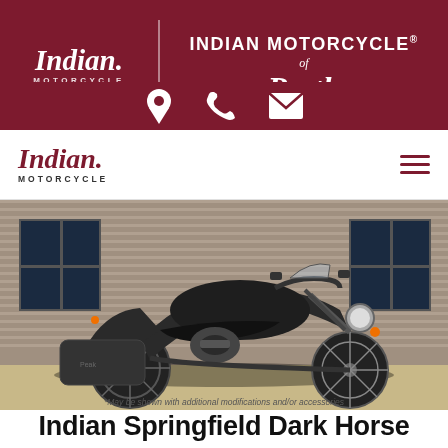INDIAN MOTORCYCLE of Perth — Indian Motorcycle of Perth header banner with location, phone, and email icons
[Figure (logo): Indian Motorcycle of Perth logo on dark red/maroon background with script Indian Motorcycle text and 'of Perth' in italics]
Indian Motorcycle navigation bar with hamburger menu
[Figure (photo): Dark matte black Indian Springfield Dark Horse motorcycle parked in front of a corrugated metal wall/shed exterior. The motorcycle has saddlebags, a touring windshield, and chrome accents.]
*May be shown with additional modifications and/or accessories
Indian Springfield Dark Horse